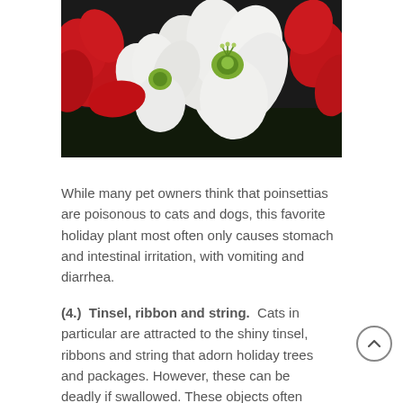[Figure (photo): Close-up photograph of red and white lily/amaryllis flowers with green centers against a dark background.]
While many pet owners think that poinsettias are poisonous to cats and dogs, this favorite holiday plant most often only causes stomach and intestinal irritation, with vomiting and diarrhea.
(4.)  Tinsel, ribbon and string.  Cats in particular are attracted to the shiny tinsel, ribbons and string that adorn holiday trees and packages. However, these can be deadly if swallowed. These objects often become wrapped around the cat's tongue and are swallowed.  When they enter